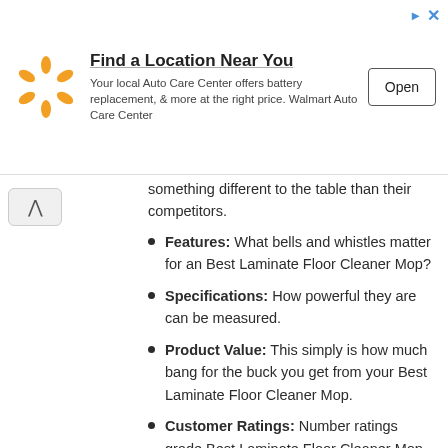[Figure (other): Walmart advertisement banner: Walmart spark logo on left, heading 'Find a Location Near You', body text 'Your local Auto Care Center offers battery replacement, & more at the right price. Walmart Auto Care Center', and an 'Open' button on the right.]
something different to the table than their competitors.
Features: What bells and whistles matter for an Best Laminate Floor Cleaner Mop?
Specifications: How powerful they are can be measured.
Product Value: This simply is how much bang for the buck you get from your Best Laminate Floor Cleaner Mop.
Customer Ratings: Number ratings grade Best Laminate Floor Cleaner Mop objectively.
Customer Reviews: Closely related to ratings, these paragraphs give you first-hand and detailed information from real-world users about their Best Laminate Floor Cleaner Mop.